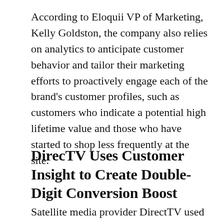According to Eloquii VP of Marketing, Kelly Goldston, the company also relies on analytics to anticipate customer behavior and tailor their marketing efforts to proactively engage each of the brand's customer profiles, such as customers who indicate a potential high lifetime value and those who have started to shop less frequently at the site.
DirecTV Uses Customer Insight to Create Double-Digit Conversion Boost
Satellite media provider DirectTV used data to uncover an underserved portion of its customer